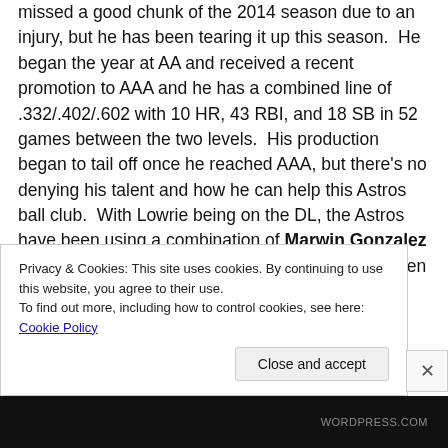missed a good chunk of the 2014 season due to an injury, but he has been tearing it up this season.  He began the year at AA and received a recent promotion to AAA and he has a combined line of .332/.402/.602 with 10 HR, 43 RBI, and 18 SB in 52 games between the two levels.  His production began to tail off once he reached AAA, but there's no denying his talent and how he can help this Astros ball club.  With Lowrie being on the DL, the Astros have been using a combination of Marwin Gonzalez and Jonathan Villar at shortstop who have not been
Privacy & Cookies: This site uses cookies. By continuing to use this website, you agree to their use.
To find out more, including how to control cookies, see here: Cookie Policy